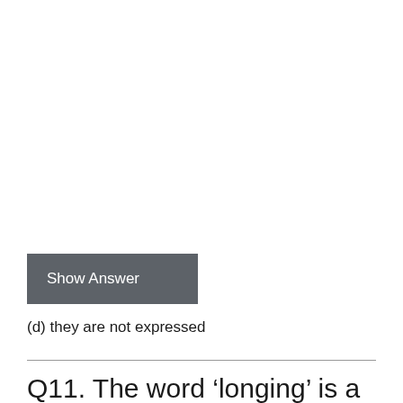Show Answer
(d) they are not expressed
Q11. The word ‘longing’ is a